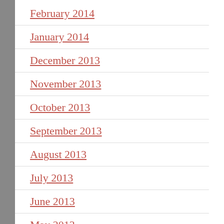February 2014
January 2014
December 2013
November 2013
October 2013
September 2013
August 2013
July 2013
June 2013
May 2013